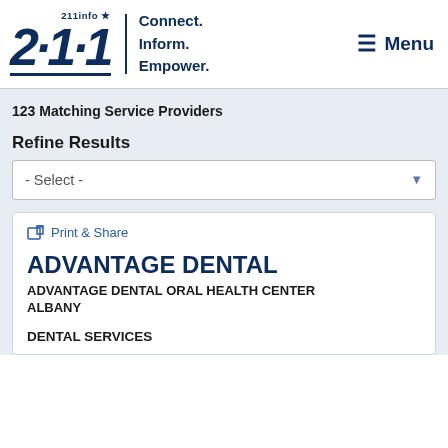[Figure (logo): 211info logo with tagline Connect. Inform. Empower. and Menu button]
123 Matching Service Providers
Refine Results
- Select -
Print & Share
ADVANTAGE DENTAL
ADVANTAGE DENTAL ORAL HEALTH CENTER ALBANY
DENTAL SERVICES